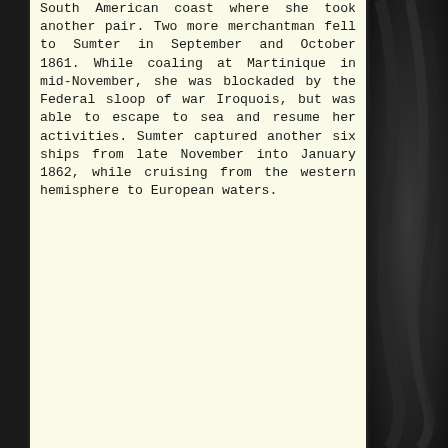South American coast where she took another pair. Two more merchantman fell to Sumter in September and October 1861. While coaling at Martinique in mid-November, she was blockaded by the Federal sloop of war Iroquois, but was able to escape to sea and resume her activities. Sumter captured another six ships from late November into January 1862, while cruising from the western hemisphere to European waters.
[Figure (photo): Dark draped fabric or textile with deep folds and creases, rendered in dark grey and black tones, occupying the right portion of the page.]